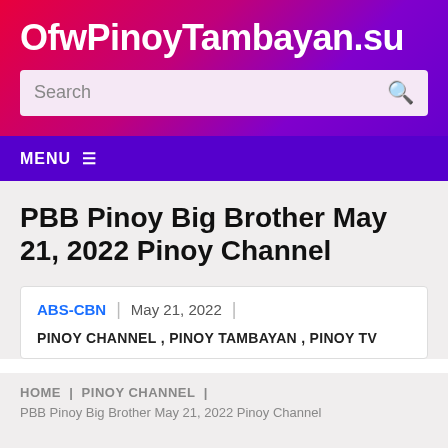OfwPinoyTambayan.su
PBB Pinoy Big Brother May 21, 2022 Pinoy Channel
ABS-CBN | May 21, 2022 |
PINOY CHANNEL , PINOY TAMBAYAN , PINOY TV
HOME | PINOY CHANNEL |
PBB Pinoy Big Brother May 21, 2022 Pinoy Channel